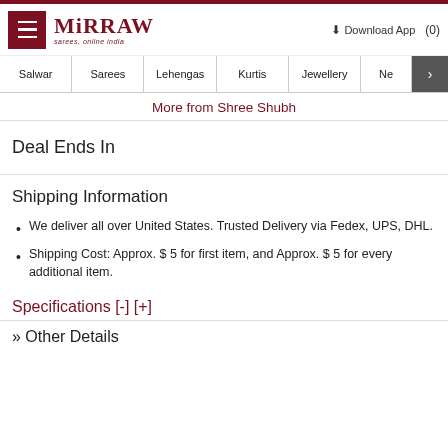Mirraw - sarees, online india | Download App | (0)
Salwar | Sarees | Lehengas | Kurtis | Jewellery | Ne >
More from Shree Shubh
Deal Ends In
Shipping Information
We deliver all over United States. Trusted Delivery via Fedex, UPS, DHL.
Shipping Cost: Approx. $ 5 for first item, and Approx. $ 5 for every additional item.
Specifications [-] [+]
» Other Details